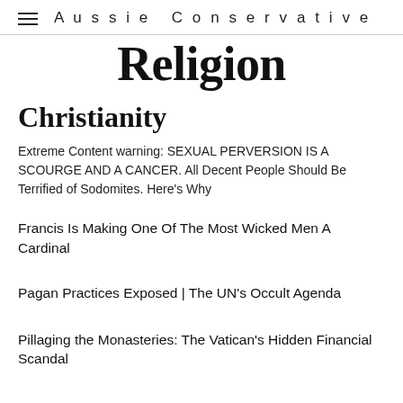Aussie Conservative
Religion
Christianity
Extreme Content warning: SEXUAL PERVERSION IS A SCOURGE AND A CANCER. All Decent People Should Be Terrified of Sodomites. Here's Why
Francis Is Making One Of The Most Wicked Men A Cardinal
Pagan Practices Exposed | The UN's Occult Agenda
Pillaging the Monasteries: The Vatican's Hidden Financial Scandal